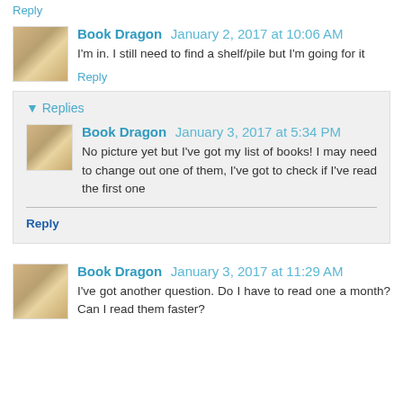Reply
Book Dragon  January 2, 2017 at 10:06 AM
I'm in. I still need to find a shelf/pile but I'm going for it
Reply
Replies
Book Dragon  January 3, 2017 at 5:34 PM
No picture yet but I've got my list of books! I may need to change out one of them, I've got to check if I've read the first one
Reply
Book Dragon  January 3, 2017 at 11:29 AM
I've got another question. Do I have to read one a month? Can I read them faster?